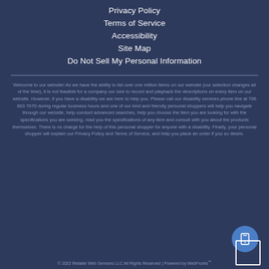Privacy Policy
Terms of Service
Accessibility
Site Map
Do Not Sell My Personal Information
Welcome to our website! As we have the ability to list over one million items on our website (our selection changes all of the time), it is not feasible for a company our size to record and playback the descriptions on every item on our website. However, if you have a disability we are here to help you. Please call our disability services phone line at 706 863 7670 during regular business hours and one of our kind and friendly personal shoppers will help you navigate through our website, help conduct advanced searches, help you choose the item you are looking for with the specifications you are seeking, read you the specifications of any item and consult with you about the products themselves. There is no charge for the help of this personal shopper for anyone with a disability. Finally, your personal shopper will explain our Privacy Policy and Terms of Service, and help you place an order if you so desire.
© 2022 Retailer Web Services LLC All Rights Reserved | Powered by WebFronts™